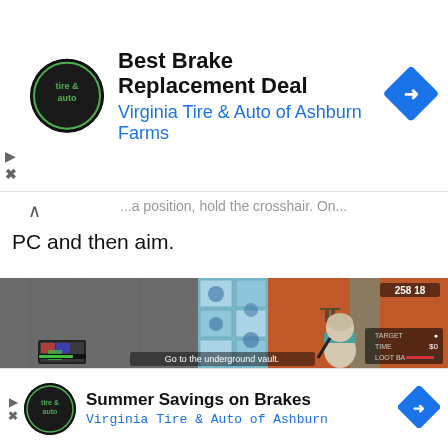[Figure (screenshot): Top ad banner: Best Brake Replacement Deal - Virginia Tire & Auto of Ashburn Farms with logo and blue direction arrow icon]
PC and then aim.
[Figure (screenshot): Video game screenshot showing a character from behind in a tiled room, with HUD elements including TARGET, TIME $0, LOOT BAG indicators and a subtitle 'Go to the underground vault.' in the lower center]
[Figure (screenshot): Bottom ad banner: Summer Savings on Brakes - Virginia Tire & Auto of Ashburn with logo and blue direction arrow icon]